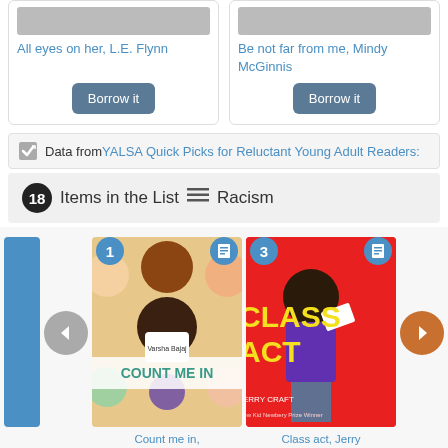All eyes on her, L.E. Flynn
Be not far from me, Mindy McGinnis
Data from YALSA Quick Picks for Reluctant Young Adult Readers:
18 Items in the List ☰ Racism
[Figure (screenshot): Book cover: Count Me In by Varsha Bajaj - illustrated cover with diverse group of children's faces]
Count me in, Varsha Bajaj
[Figure (screenshot): Book cover: Class Act by Jerry Craft - illustrated cover with Black student character on red background with yellow text]
Class act, Jerry Craft